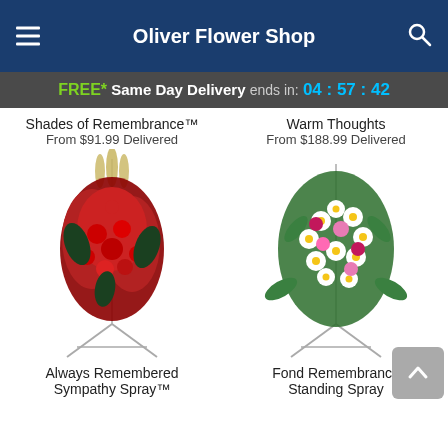Oliver Flower Shop
FREE* Same Day Delivery ends in: 04:57:42
Shades of Remembrance™
From $91.99 Delivered
Warm Thoughts
From $188.99 Delivered
[Figure (photo): Red floral sympathy standing spray arrangement with gladioli and roses on a metal easel stand]
[Figure (photo): White and pink floral standing spray arrangement with daisies and roses on a metal easel stand]
Always Remembered Sympathy Spray™
Fond Remembrance Standing Spray